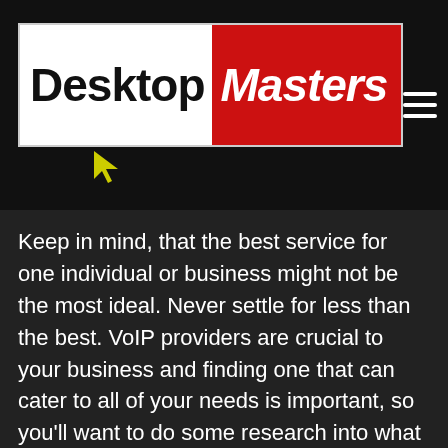[Figure (logo): DesktopMasters logo with white background for 'Desktop' in black bold text and red background for 'Masters' in white italic text, with a yellow cursor arrow below]
Keep in mind, that the best service for one individual or business might not be the most ideal. Never settle for less than the best. VoIP providers are crucial to your business and finding one that can cater to all of your needs is important, so you'll want to do some research into what they offer before settling on a company.
Users should consider the comparing VoIP providers in Hollywood, Los Angeles: